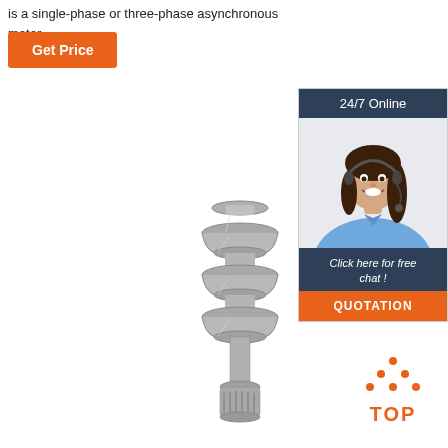is a single-phase or three-phase asynchronous motor.
Get Price
[Figure (illustration): Chat widget with '24/7 Online' header, a smiling female customer service agent wearing a headset, 'Click here for free chat!' text and orange QUOTATION button]
[Figure (photo): A stainless steel submersible pump column with multiple bowl stages, vertical orientation, metallic finish]
[Figure (other): Orange dots arranged in triangle pattern above orange 'TOP' text — back to top button]